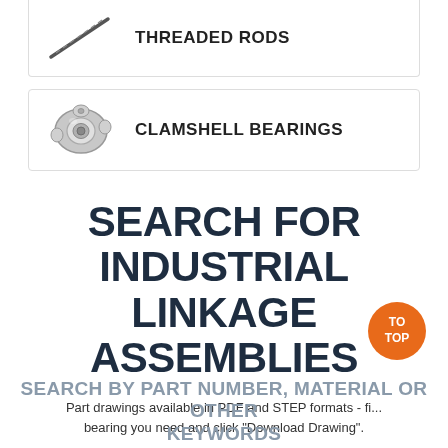[Figure (illustration): Threaded rod product card with diagonal rod image and bold label 'THREADED RODS']
[Figure (illustration): Clamshell bearing product card with silver bearing image and bold label 'CLAMSHELL BEARINGS']
SEARCH FOR INDUSTRIAL LINKAGE ASSEMBLIES
Part drawings available in PDF and STEP formats - fi... bearing you need and click "Download Drawing".
SEARCH BY PART NUMBER, MATERIAL OR OTHER KEYWORDS